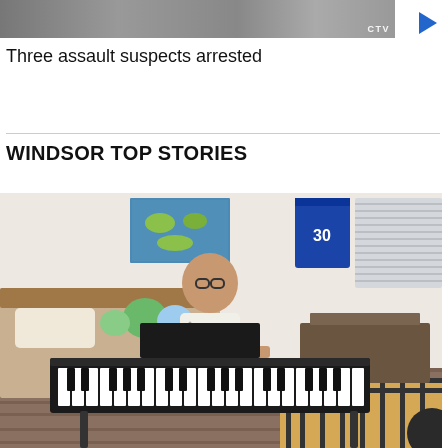[Figure (screenshot): Video thumbnail showing a parking lot or street scene with vehicles, CTV logo watermark visible in top right corner, with a blue play button to the right]
Three assault suspects arrested
WINDSOR TOP STORIES
[Figure (photo): A young boy wearing glasses and a white patterned shirt smiling while playing a black keyboard/piano in his bedroom. Behind him is a bed with stuffed animals, a world map poster on the wall, a blue basketball jersey (number 30) hanging, and a desk with equipment. The room has a wooden floor and a geometric patterned rug.]